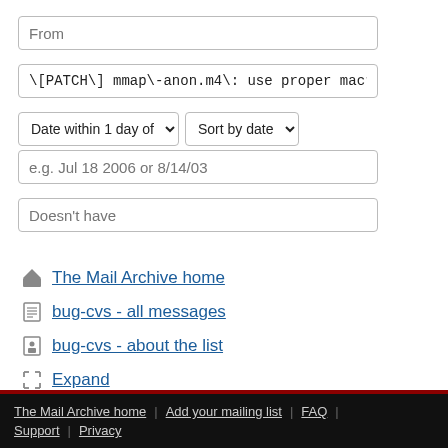From (input placeholder)
\[PATCH\] mmap\-anon.m4\: use proper macro \
Date within 1 day of | Sort by date
e.g. Jul 18 2006 or 8/14/03
Doesn't have
The Mail Archive home
bug-cvs - all messages
bug-cvs - about the list
Expand
The Mail Archive home | Add your mailing list | FAQ | Support | Privacy